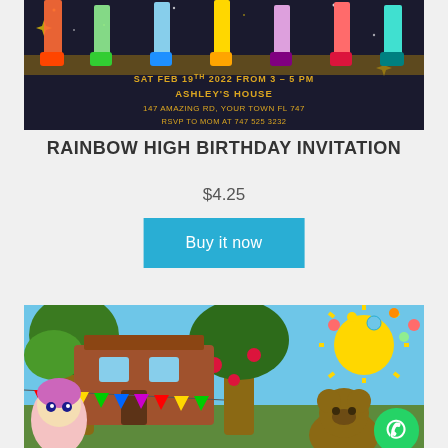[Figure (photo): Rainbow High birthday invitation card showing colorful character legs/shoes at top, with text: SAT FEB 19TH 2022 FROM 3 - 5 PM, ASHLEY'S HOUSE, 147 AMAZING RD, YOUR TOWN FL 747, RSVP TO MOM AT 747 525 3232, on dark background with stars]
RAINBOW HIGH BIRTHDAY INVITATION
$4.25
Buy it now
[Figure (photo): Masha and the Bear themed birthday invitation image showing animated treehouse scene with Masha character, colorful bunting flags, sun, bear, and WhatsApp icon in bottom right corner]